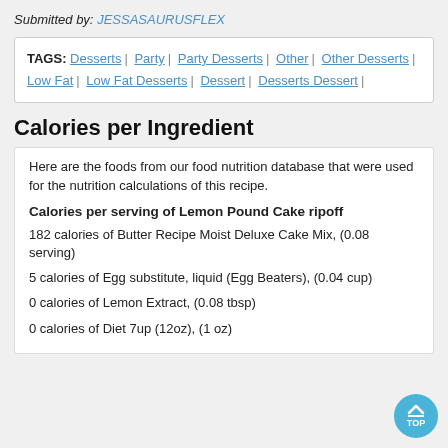Submitted by: JESSASAURUSFLEX
TAGS: Desserts | Party | Party Desserts | Other | Other Desserts | Low Fat | Low Fat Desserts | Dessert | Desserts Dessert |
Calories per Ingredient
Here are the foods from our food nutrition database that were used for the nutrition calculations of this recipe.
Calories per serving of Lemon Pound Cake ripoff
182 calories of Butter Recipe Moist Deluxe Cake Mix, (0.08 serving)
5 calories of Egg substitute, liquid (Egg Beaters), (0.04 cup)
0 calories of Lemon Extract, (0.08 tbsp)
0 calories of Diet 7up (12oz), (1 oz)